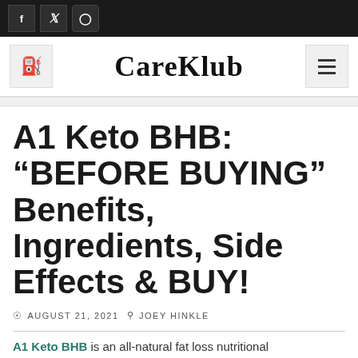CareKlub — navigation header with social icons (Facebook, Twitter, Instagram), search, logo, and menu
A1 Keto BHB: “BEFORE BUYING” Benefits, Ingredients, Side Effects & BUY!
AUGUST 21, 2021  JOEY HINKLE
A1 Keto BHB is an all-natural fat loss nutritional